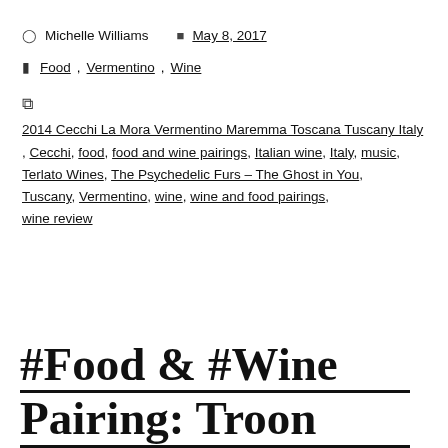Michelle Williams   May 8, 2017
Food, Vermentino, Wine
2014 Cecchi La Mora Vermentino Maremma Toscana Tuscany Italy , Cecchi, food, food and wine pairings, Italian wine, Italy, music, Terlato Wines, The Psychedelic Furs – The Ghost in You, Tuscany, Vermentino, wine, wine and food pairings, wine review
#Food & #Wine Pairing: Troon